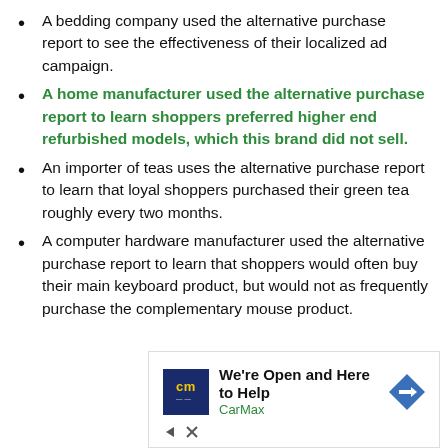A bedding company used the alternative purchase report to see the effectiveness of their localized ad campaign.
A home manufacturer used the alternative purchase report to learn shoppers preferred higher end refurbished models, which this brand did not sell.
An importer of teas uses the alternative purchase report to learn that loyal shoppers purchased their green tea roughly every two months.
A computer hardware manufacturer used the alternative purchase report to learn that shoppers would often buy their main keyboard product, but would not as frequently purchase the complementary mouse product.
[Figure (other): CarMax advertisement banner: 'We're Open and Here to Help' with CarMax logo and navigation arrow icon, with close/skip controls below.]